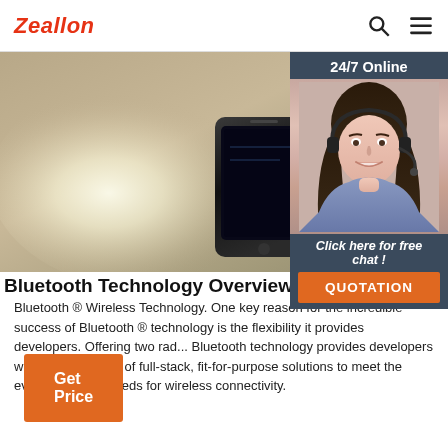Zeallon
[Figure (photo): Hero photo of a smartphone lying on a table with a bright light source and Bluetooth speaker device in background]
[Figure (photo): Chat agent overlay panel: woman wearing headset, with '24/7 Online' header, 'Click here for free chat!' link, and orange QUOTATION button]
Bluetooth Technology Overview
Bluetooth ® Wireless Technology. One key reason for the incredible success of Bluetooth ® technology is the flexibility it provides developers. Offering two radio options, Bluetooth technology provides developers with a versatile set of full-stack, fit-for-purpose solutions to meet the ever-expanding needs for wireless connectivity.
Get Price